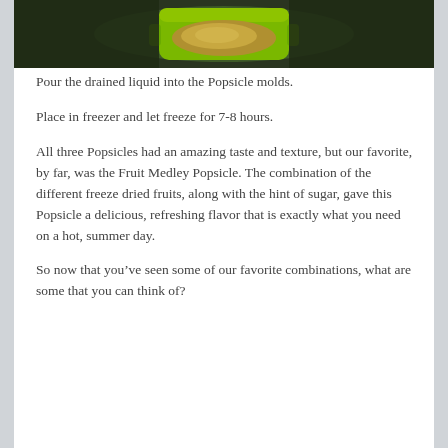[Figure (photo): A green popsicle mold cup photographed from above, containing a brown liquid, set against a dark background.]
Pour the drained liquid into the Popsicle molds.
Place in freezer and let freeze for 7-8 hours.
All three Popsicles had an amazing taste and texture, but our favorite, by far, was the Fruit Medley Popsicle. The combination of the different freeze dried fruits, along with the hint of sugar, gave this Popsicle a delicious, refreshing flavor that is exactly what you need on a hot, summer day.
So now that you’ve seen some of our favorite combinations, what are some that you can think of?